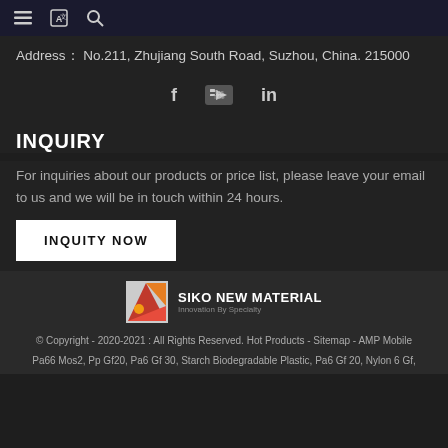≡ [translate icon] [search icon]
Address： No.211, Zhujiang South Road, Suzhou, China. 215000
[Figure (other): Social media icons: Facebook (f), YouTube, LinkedIn (in)]
INQUIRY
For inquiries about our products or price list, please leave your email to us and we will be in touch within 24 hours.
INQUITY NOW
[Figure (logo): SIKO NEW MATERIAL logo with red/orange geometric icon and tagline Innovation By Specialty]
© Copyright - 2020-2021 : All Rights Reserved. Hot Products - Sitemap - AMP Mobile Pa66 Mos2, Pp Gf20, Pa6 Gf 30, Starch Biodegradable Plastic, Pa6 Gf 20, Nylon 6 Gf,